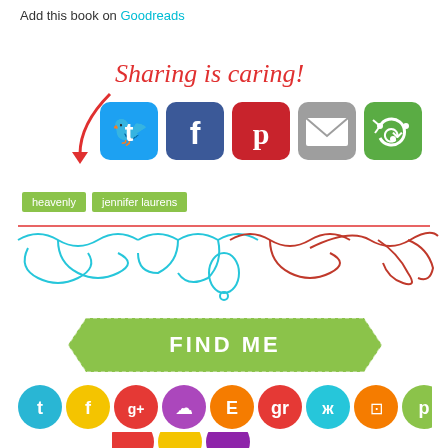Add this book on Goodreads
[Figure (infographic): Sharing is caring! text with red arrow and social share buttons: Twitter (blue), Facebook (dark blue), Pinterest (red), Email (grey), Share (green)]
heavenly
jennifer laurens
[Figure (illustration): Decorative ornamental divider with teal and red scroll/flourish pattern]
[Figure (infographic): FIND ME banner in green with notched ribbon ends]
[Figure (infographic): Row of social media circular icons: Twitter, Facebook, Google+, RSS, Etsy, Goodreads, OK, Instagram, Pinterest and second row: Feedly, Tumblr, Hearts]